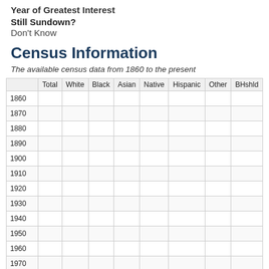Year of Greatest Interest
Still Sundown?
Don't Know
Census Information
The available census data from 1860 to the present
|  | Total | White | Black | Asian | Native | Hispanic | Other | BHshld |
| --- | --- | --- | --- | --- | --- | --- | --- | --- |
| 1860 |  |  |  |  |  |  |  |  |
| 1870 |  |  |  |  |  |  |  |  |
| 1880 |  |  |  |  |  |  |  |  |
| 1890 |  |  |  |  |  |  |  |  |
| 1900 |  |  |  |  |  |  |  |  |
| 1910 |  |  |  |  |  |  |  |  |
| 1920 |  |  |  |  |  |  |  |  |
| 1930 |  |  |  |  |  |  |  |  |
| 1940 |  |  |  |  |  |  |  |  |
| 1950 |  |  |  |  |  |  |  |  |
| 1960 |  |  |  |  |  |  |  |  |
| 1970 |  |  |  |  |  |  |  |  |
| 1980 | 1601 | 1596 | 0 | 0 | 0 |  | 0 |  |
| 1990 |  |  |  |  |  |  |  |  |
| 2000 | 1430 | 1415 | 0 | 0 | 1 | 26 | 14 | 0 |